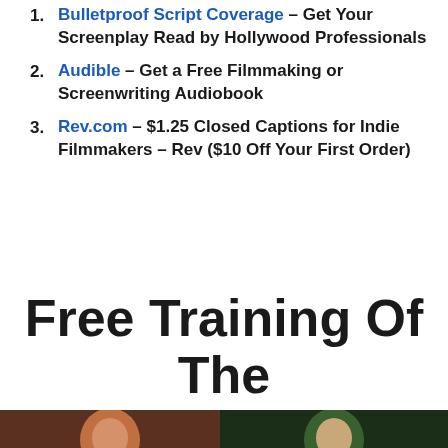Bulletproof Script Coverage – Get Your Screenplay Read by Hollywood Professionals
Audible – Get a Free Filmmaking or Screenwriting Audiobook
Rev.com – $1.25 Closed Captions for Indie Filmmakers – Rev ($10 Off Your First Order)
Free Training Of The Week
[Figure (photo): Two side-by-side photo thumbnails, left showing a person with warm brown tones, right showing a person with dark green tones]